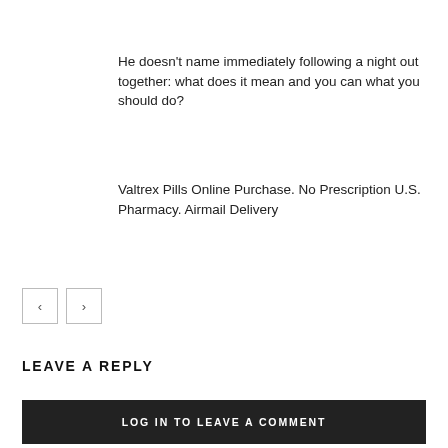He doesn't name immediately following a night out together: what does it mean and you can what you should do?
Valtrex Pills Online Purchase. No Prescription U.S. Pharmacy. Airmail Delivery
< >
LEAVE A REPLY
LOG IN TO LEAVE A COMMENT